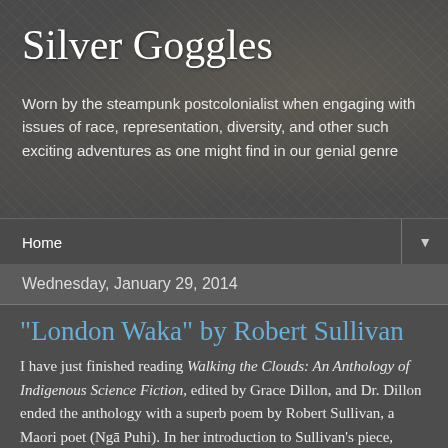Silver Goggles
Worn by the steampunk postcolonialist when engaging with issues of race, representation, diversity, and other such exciting adventures as one might find in our genial genre
Home ▼
Wednesday, January 29, 2014
"London Waka" by Robert Sullivan
I have just finished reading Walking the Clouds: An Anthology of Indigenous Science Fiction, edited by Grace Dillon, and Dr. Dillon ended the anthology with a superb poem by Robert Sullivan, a Maori poet (Ngā Puhi). In her introduction to Sullivan's piece, Dillon shares the gist of another of his poems, called "London Waka" which briefly lays out an alternate history in which Maori warriors take